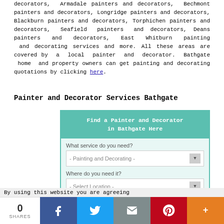decorators, Armadale painters and decorators, Bechmont painters and decorators, Longridge painters and decorators, Blackburn painters and decorators, Torphichen painters and decorators, Seafield painters and decorators, Deans painters and decorators, East Whitburn painting and decorating services and more. All these areas are covered by a local painter and decorator. Bathgate home and property owners can get painting and decorating quotations by clicking here.
Painter and Decorator Services Bathgate
[Figure (screenshot): A teal/green form widget titled 'Find a Painter and Decorator in Bathgate Here' with two dropdowns: 'What service do you need?' (showing '- Painting and Decorating -') and 'Where do you need it?' (showing '- Select Location -')]
By using this website you are agreeing
0 SHARES [Facebook] [Twitter] [Email] [Pinterest] [More]